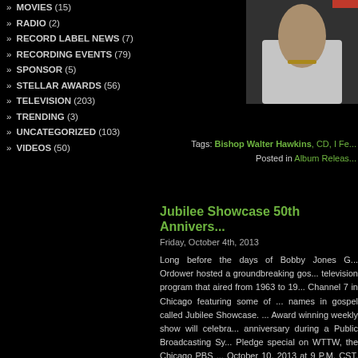» MOVIES (15)
» RADIO (2)
» RECORD LABEL NEWS (7)
» RECORDING EVENTS (79)
» SPONSOR (5)
» STELLAR AWARDS (56)
» TELEVISION (203)
» TRENDING (3)
» UNCATEGORIZED (103)
» VIDEOS (50)
[Figure (photo): Photo of a person in white shirt with jewelry/bracelet visible]
Tags: Bishop Walter Hawkins, CD, I Fe...
Posted in Album Releas...
Jubilee Showcase 50th Annivers...
Friday, October 4th, 2013
Long before the days of Bobby Jones G... Ordower hosted a groundbreaking gos... television program that aired from 1963 to 19... Channel 7 in Chicago featuring some of ... names in gospel called Jubilee Showcase.... Award winning weekly show will celebra... anniversary during a Public Broadcasting Sy... Pledge special on WTTW, the Chicago PBS ... October 10, 2013 at 9 P.M. CST, then b... nationally on PBS stations throughout the U...